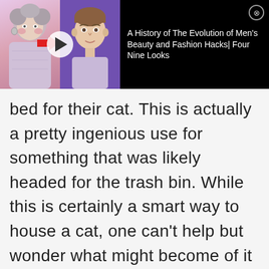[Figure (screenshot): Video thumbnail banner on black background. Left side shows a thumbnail with two figures and a red arrow between them with a play button overlay. Right side shows video title text: 'A History of The Evolution of Men's Beauty and Fashion Hacks| Four Nine Looks' and a close (X) button.]
bed for their cat. This is actually a pretty ingenious use for something that was likely headed for the trash bin. While this is certainly a smart way to house a cat, one can't help but wonder what might become of it should the cat decide to stretch its claws while inside.